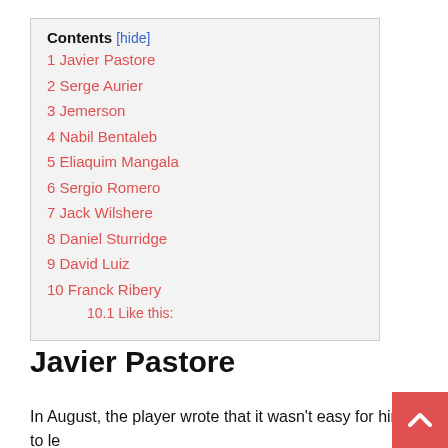Contents [hide]
1 Javier Pastore
2 Serge Aurier
3 Jemerson
4 Nabil Bentaleb
5 Eliaquim Mangala
6 Sergio Romero
7 Jack Wilshere
8 Daniel Sturridge
9 David Luiz
10 Franck Ribery
10.1 Like this:
Javier Pastore
In August, the player wrote that it wasn't easy for him to le